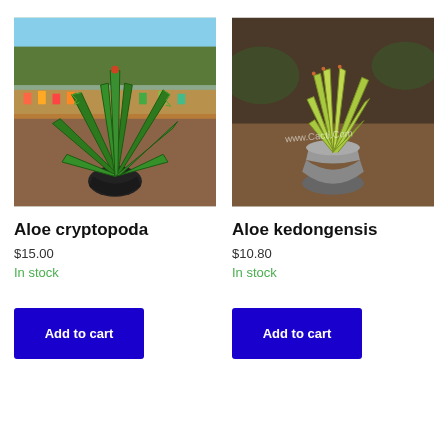[Figure (photo): Photo of Aloe cryptopoda plant in a black pot at a nursery with colorful plants in the background]
Aloe cryptopoda
$15.00
In stock
Add to cart
[Figure (photo): Photo of Aloe kedongensis plant in a metallic pot outdoors on brown soil, with watermark www.Cacti.Com]
Aloe kedongensis
$10.80
In stock
Add to cart